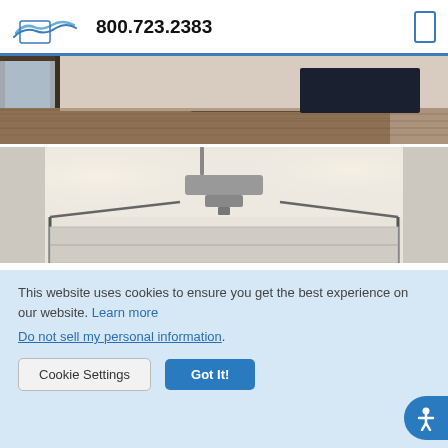[Figure (logo): Oregon Beach Vacations logo with wave graphic]
800.723.2383
[Figure (photo): Interior room photo showing hardwood floor and furniture]
[Figure (photo): Garage interior photo showing ceiling, projector, and garage door tracks]
This website uses cookies to ensure you get the best experience on our website. Learn more
Do not sell my personal information.
Cookie Settings
Got It!